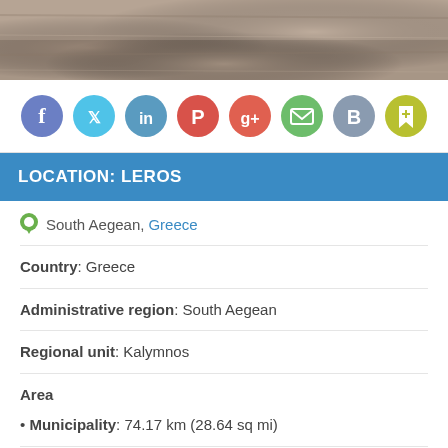[Figure (photo): Sandy/rocky beach ground texture photo at top of page]
[Figure (infographic): Row of social media sharing icons: Facebook, Twitter, LinkedIn, Pinterest, Google+, Email, B (bookmark), bookmark flag]
LOCATION: LEROS
South Aegean, Greece
Country: Greece
Administrative region: South Aegean
Regional unit: Kalymnos
Area
• Municipality: 74.17 km (28.64 sq mi)
Highest elevation: 320 m (1,050 ft)
Lowest elevation: 0 m (0 ft)
Population (2011)